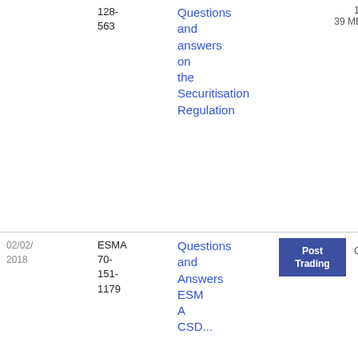| Date | Reference | Title | Tags | File |
| --- | --- | --- | --- | --- |
|  | 128-563 | Questions and answers on the Securitisation Regulation |  | 1.39 MB |
| 02/02/2018 | ESMA 70-151-1179 | Questions and Answers ESMA CSD... | Post Trading | Q&A | 69
4.47 KB |